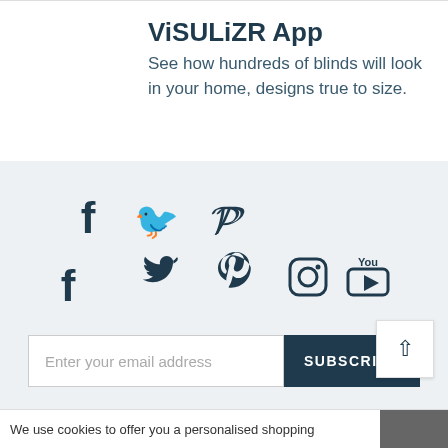ViSULiZR App
See how hundreds of blinds will look in your home, designs true to size.
[Figure (infographic): Social media icons: Facebook, Twitter, Pinterest, Instagram, YouTube]
Enter your email address  SUBSCRIBE
Customer Help
FAQs / Contact Us
We use cookies to offer you a personalised shopping